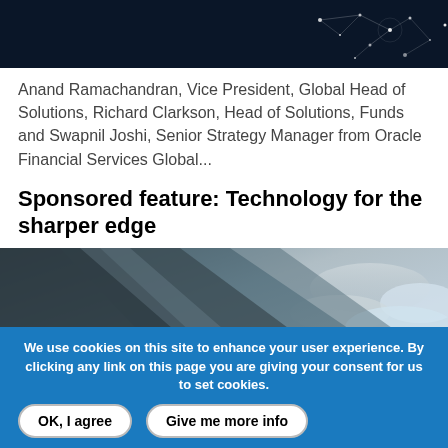[Figure (photo): Dark blue background with glowing network/constellation graphic]
Anand Ramachandran, Vice President, Global Head of Solutions, Richard Clarkson, Head of Solutions, Funds and Swapnil Joshi, Senior Strategy Manager from Oracle Financial Services Global...
Sponsored feature: Technology for the sharper edge
[Figure (photo): Close-up of a metallic curved surface (possibly aircraft or wind turbine blade) against a cloudy blue sky]
We use cookies on this site to enhance your user experience. By clicking any link on this page you are giving your consent for us to set cookies.